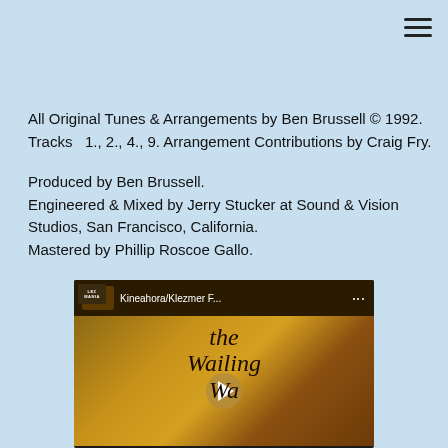All Original Tunes & Arrangements by Ben Brussell © 1992.
Tracks  1., 2., 4., 9. Arrangement Contributions by Craig Fry.

Produced by Ben Brussell.
Engineered & Mixed by Jerry Stucker at Sound & Vision Studios, San Francisco, California.
Mastered by Phillip Roscoe Gallo.
[Figure (screenshot): YouTube video embed showing 'Kineahora/Klezmer F...' with a thumbnail of 'the Wailing Wa...' title in stylized text over a warm-toned background, with a play button in the center.]